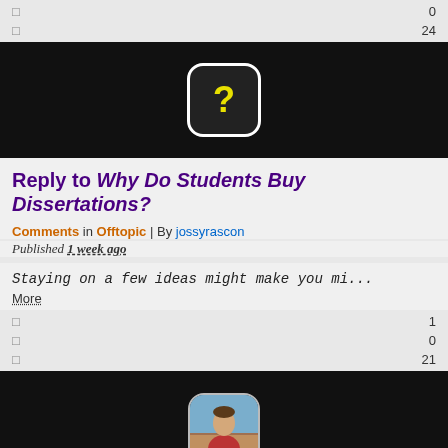□ 0
□ 24
[Figure (illustration): Black background section with a rounded square icon containing a yellow question mark on dark background, white border]
Reply to Why Do Students Buy Dissertations?
Comments in Offtopic | By jossyrascon
Published 1 week ago
Staying on a few ideas might make you mi...
More
□ 1
□ 0
□ 21
[Figure (photo): Black background section with a rounded square profile photo of a man in a red shirt outdoors]
Reply to The Art & Science of Software Development
Comments in Web Development | By MarkUltra
Published 1 week ago